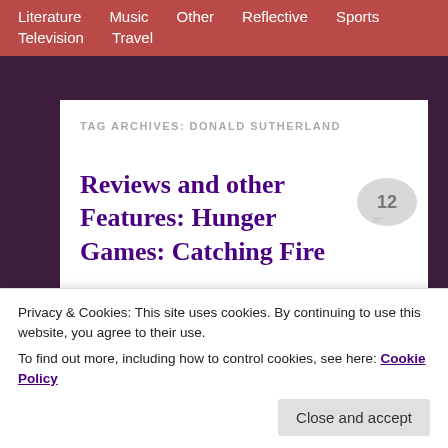Literature  Music  Other  Reflective  Sports  Television  Travel
TAG ARCHIVES: DONALD SUTHERLAND
Reviews and other Features: Hunger Games: Catching Fire
Posted on December 3, 2013
Privacy & Cookies: This site uses cookies. By continuing to use this website, you agree to their use.
To find out more, including how to control cookies, see here: Cookie Policy